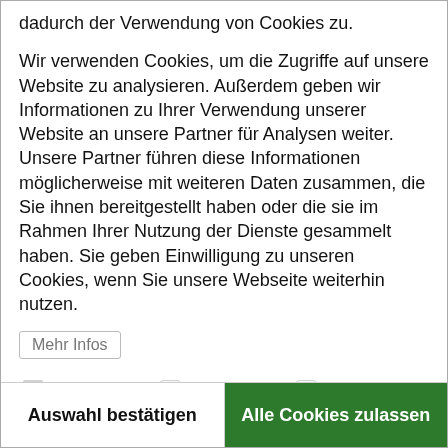dadurch der Verwendung von Cookies zu.
Wir verwenden Cookies, um die Zugriffe auf unsere Website zu analysieren. Außerdem geben wir Informationen zu Ihrer Verwendung unserer Website an unsere Partner für Analysen weiter. Unsere Partner führen diese Informationen möglicherweise mit weiteren Daten zusammen, die Sie ihnen bereitgestellt haben oder die sie im Rahmen Ihrer Nutzung der Dienste gesammelt haben. Sie geben Einwilligung zu unseren Cookies, wenn Sie unsere Webseite weiterhin nutzen.
Mehr Infos
☑ Notwendig   ☐ Statistiken   ☐ Marketing
Auswahl bestätigen
Alle Cookies zulassen